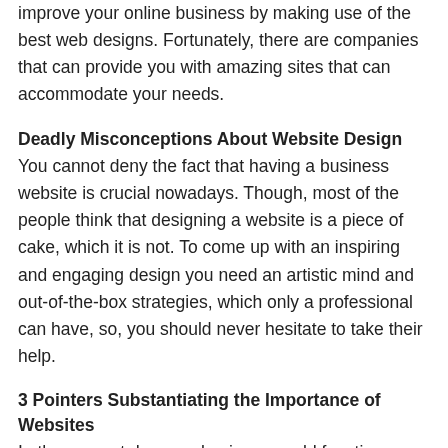improve your online business by making use of the best web designs. Fortunately, there are companies that can provide you with amazing sites that can accommodate your needs.
Deadly Misconceptions About Website Design
You cannot deny the fact that having a business website is crucial nowadays. Though, most of the people think that designing a website is a piece of cake, which it is not. To come up with an inspiring and engaging design you need an artistic mind and out-of-the-box strategies, which only a professional can have, so, you should never hesitate to take their help.
3 Pointers Substantiating the Importance of Websites
In the present days, no business could function without a website. Websites are of much significance because they can drive customers and thus, allow your companies to earn huge